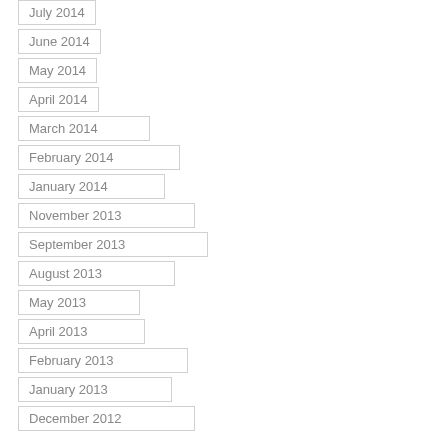July 2014
June 2014
May 2014
April 2014
March 2014
February 2014
January 2014
November 2013
September 2013
August 2013
May 2013
April 2013
February 2013
January 2013
December 2012